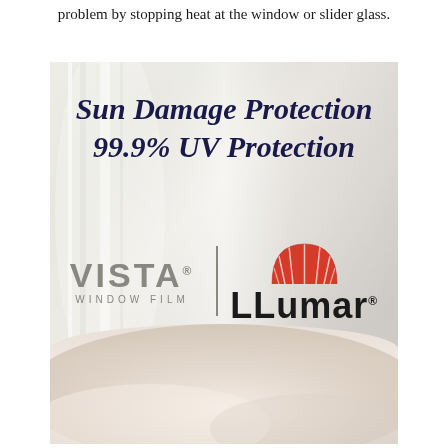problem by stopping heat at the window or slider glass.
[Figure (photo): Interior room scene with sheer curtains and natural light, overlaid with italic dark blue text reading 'Sun Damage Protection 99.9% UV Protection', and logos for Vista Window Film and LLumar below, with a fluffy white/cream fur pillow in the foreground bottom.]